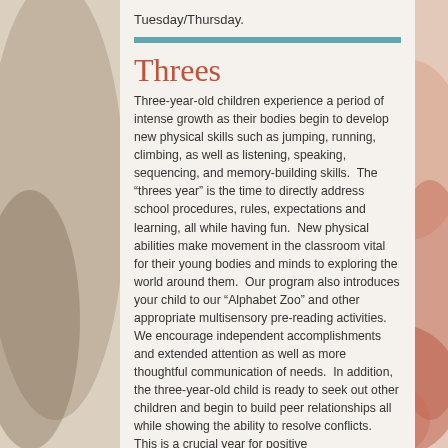Tuesday/Thursday.
Threes
Three-year-old children experience a period of intense growth as their bodies begin to develop new physical skills such as jumping, running, climbing, as well as listening, speaking, sequencing, and memory-building skills.  The “threes year” is the time to directly address school procedures, rules, expectations and learning, all while having fun.  New physical abilities make movement in the classroom vital for their young bodies and minds to exploring the world around them.  Our program also introduces your child to our “Alphabet Zoo” and other appropriate multisensory pre-reading activities.  We encourage independent accomplishments and extended attention as well as more thoughtful communication of needs.  In addition, the three-year-old child is ready to seek out other children and begin to build peer relationships all while showing the ability to resolve conflicts.  This is a crucial year for positive